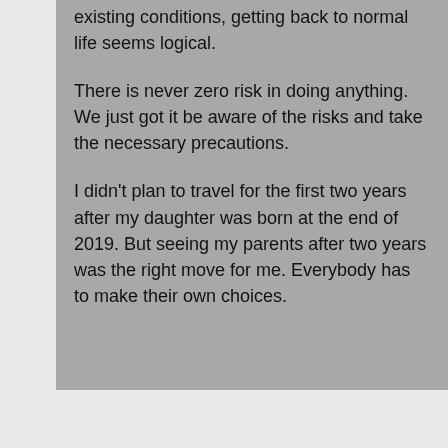existing conditions, getting back to normal life seems logical.

There is never zero risk in doing anything. We just got it be aware of the risks and take the necessary precautions.

I didn't plan to travel for the first two years after my daughter was born at the end of 2019. But seeing my parents after two years was the right move for me. Everybody has to make their own choices.
Best of luck!